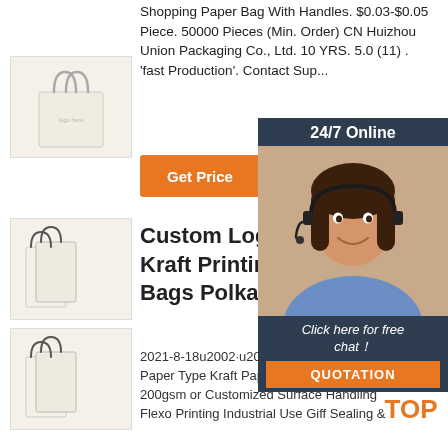Shopping Paper Bag With Handles. $0.03-$0.05 Piece. 50000 Pieces (Min. Order) CN Huizhou Union Packaging Co., Ltd. 10 YRS. 5.0 (11) . 'fast Production'. Contact Sup...
[Figure (photo): Cream/white tote bag product image]
[Figure (other): Get Price orange button]
[Figure (photo): White paper bags with handles - mid image]
[Figure (photo): White paper bags with handles - bottom image]
Custom Logo White Kraft Printing Paper Bags Polka Dot
2021-8-18u2002·u2002Food Grade Material Paper Type Kraft Paper Thickness 30gsm-200gsm or Customized Surface Handling Flexo Printing Industrial Use Giff Sealing &
[Figure (infographic): 24/7 Online chat panel with agent photo, 'Click here for free chat!' text and QUOTATION button]
[Figure (infographic): TOP icon with orange dots above]